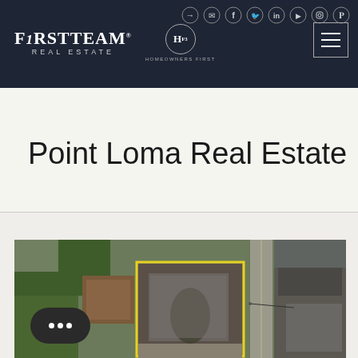FirstTeam Real Estate — Homeowners First header with navigation and social icons
Point Loma Real Estate
[Figure (photo): Aerial/overhead photograph of a residential property in Point Loma, showing rooftops, yards, and a street, with a yellow rectangle highlighting one specific lot. A 'MOST POPULAR' badge is overlaid on the top-left of the image. A dark chat bubble with three dots appears in the bottom-left.]